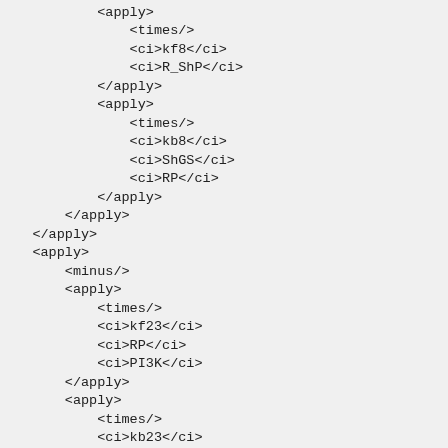<apply>
    <times/>
    <ci>kf8</ci>
    <ci>R_ShP</ci>
</apply>
<apply>
    <times/>
    <ci>kb8</ci>
    <ci>ShGS</ci>
    <ci>RP</ci>
</apply>
</apply>
</apply>
<apply>
    <minus/>
    <apply>
        <times/>
        <ci>kf23</ci>
        <ci>RP</ci>
        <ci>PI3K</ci>
    </apply>
    <apply>
        <times/>
        <ci>kb23</ci>
        <ci>R_PI3K</ci>
    </apply>
</apply>
</apply>
</apply>
<apply>